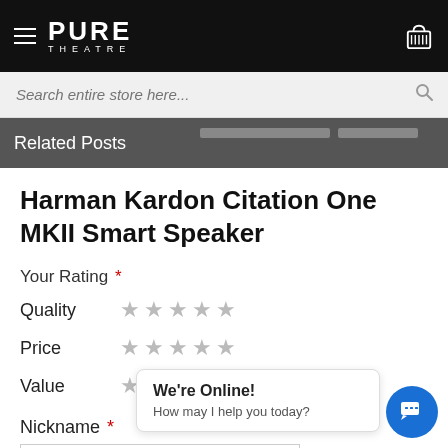PURE THEATRE
Search entire store here...
Related Posts
Harman Kardon Citation One MKII Smart Speaker
Your Rating *
Quality ★★★★★
Price ★★★★★
Value ★★★★★
Nickname *
We're Online!
How may I help you today?